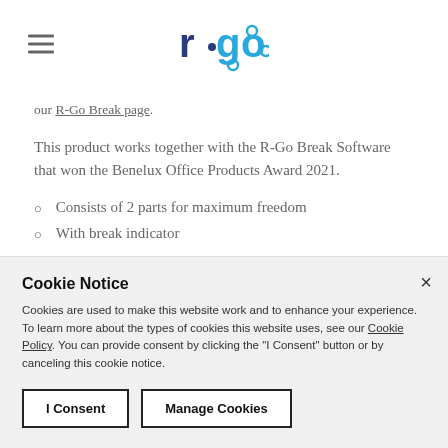r-go (logo)
our R-Go Break page.
This product works together with the R-Go Break Software that won the Benelux Office Products Award 2021.
Consists of 2 parts for maximum freedom
With break indicator
Ultra thin for better blood circulation
Light keystroke for minimal muscle tension
Cookie Notice
Cookies are used to make this website work and to enhance your experience. To learn more about the types of cookies this website uses, see our Cookie Policy. You can provide consent by clicking the "I Consent" button or by canceling this cookie notice.
I Consent | Manage Cookies